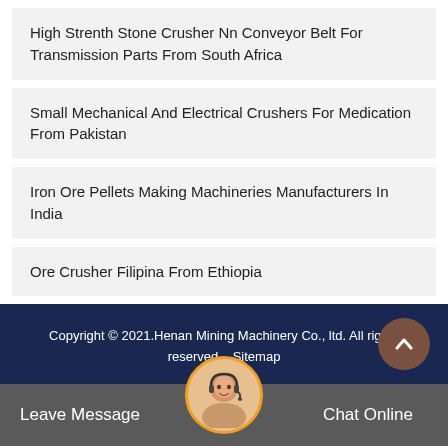High Strenth Stone Crusher Nn Conveyor Belt For Transmission Parts From South Africa
Small Mechanical And Electrical Crushers For Medication From Pakistan
Iron Ore Pellets Making Machineries Manufacturers In India
Ore Crusher Filipina From Ethiopia
Copyright © 2021.Henan Mining Machinery Co., ltd. All rights reserved.   Sitemap
Leave Message
Chat Online